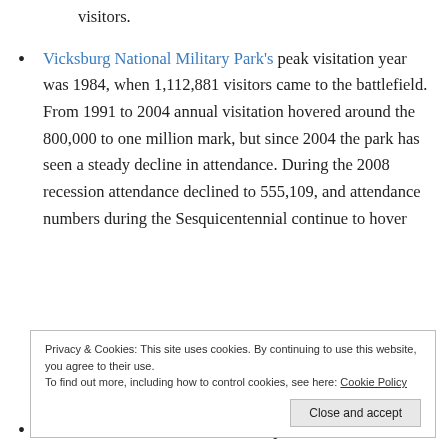visitors.
Vicksburg National Military Park's peak visitation year was 1984, when 1,112,881 visitors came to the battlefield. From 1991 to 2004 annual visitation hovered around the 800,000 to one million mark, but since 2004 the park has seen a steady decline in attendance. During the 2008 recession attendance declined to 555,109, and attendance numbers during the Sesquicentennial continue to hover
Privacy & Cookies: This site uses cookies. By continuing to use this website, you agree to their use.
To find out more, including how to control cookies, see here: Cookie Policy
Fort Sumter National Monument's peak visitation